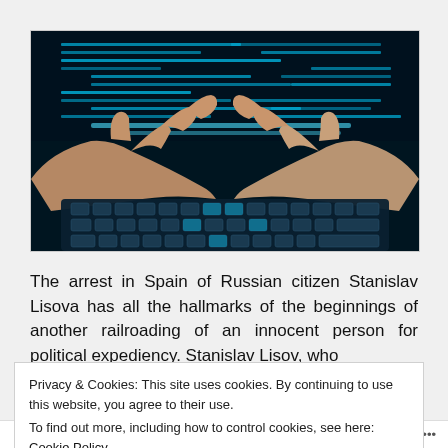[Figure (photo): Two hands typing on a backlit keyboard with blue code/text visible on a screen in the background — a hacking or cybersecurity themed photo.]
The arrest in Spain of Russian citizen Stanislav Lisova has all the hallmarks of the beginnings of another railroading of an innocent person for political expediency. Stanislav Lisov, who
Privacy & Cookies: This site uses cookies. By continuing to use this website, you agree to their use.
To find out more, including how to control cookies, see here: Cookie Policy
Dúnadh agus toiliú
Learn ···